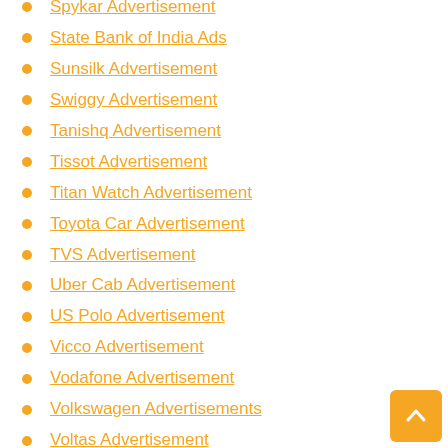Spykar Advertisement
State Bank of India Ads
Sunsilk Advertisement
Swiggy Advertisement
Tanishq Advertisement
Tissot Advertisement
Titan Watch Advertisement
Toyota Car Advertisement
TVS Advertisement
Uber Cab Advertisement
US Polo Advertisement
Vicco Advertisement
Vodafone Advertisement
Volkswagen Advertisements
Voltas Advertisement